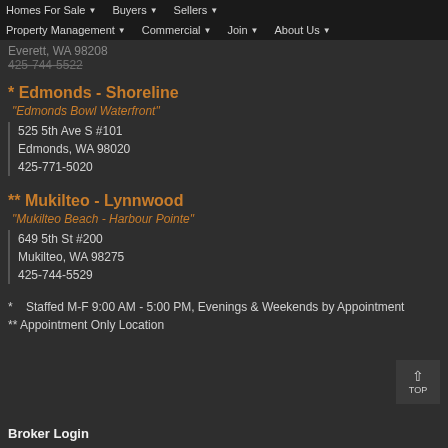Homes For Sale | Buyers | Sellers | Property Management | Commercial | Join | About Us
Everett, WA 98208
425-744-5522
* Edmonds - Shoreline
"Edmonds Bowl Waterfront"
525 5th Ave S #101
Edmonds, WA 98020
425-771-5020
** Mukilteo - Lynnwood
"Mukilteo Beach - Harbour Pointe"
649 5th St #200
Mukilteo, WA 98275
425-744-5529
*   Staffed M-F 9:00 AM - 5:00 PM, Evenings & Weekends by Appointment
** Appointment Only Location
Broker Login